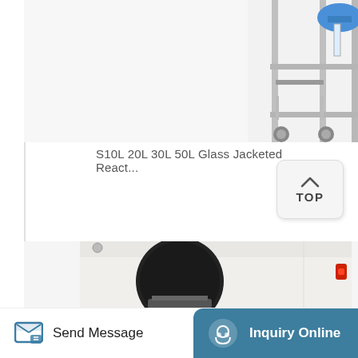[Figure (photo): Top portion of a glass jacketed reactor on a metal frame with blue fittings, shown on a light grey background. The frame has wheels/casters visible.]
S10L 20L 30L 50L Glass Jacketed React...
[Figure (other): A 'TOP' scroll-to-top button with an upward chevron arrow, light grey rounded rectangle.]
[Figure (photo): Laboratory autoclave or sterilizer machine, white boxy unit with a large circular black door opening, red power switch on the right side panel.]
Send Message | Inquiry Online